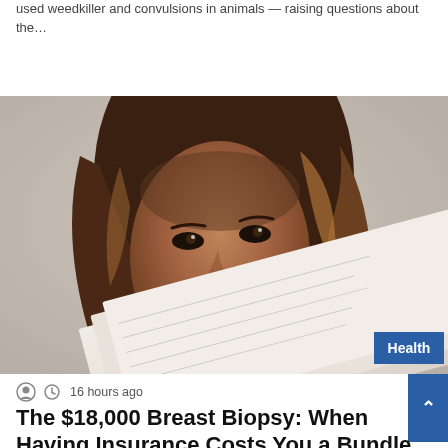used weedkiller and convulsions in animals — raising questions about the…
Read More »
[Figure (photo): A woman with long wavy brown hair peering over a stack of papers or documents, looking upward with a concerned expression. A 'Health' badge appears in the bottom-right corner of the image.]
16 hours ago
The $18,000 Breast Biopsy: When Having Insurance Costs You a Bundle